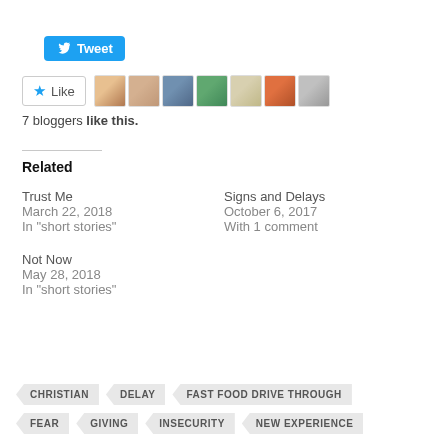[Figure (screenshot): Twitter Tweet button (blue, with bird icon)]
[Figure (screenshot): Like button with star icon and 7 blogger avatar thumbnails]
7 bloggers like this.
Related
Trust Me
March 22, 2018
In "short stories"
Signs and Delays
October 6, 2017
With 1 comment
Not Now
May 28, 2018
In "short stories"
CHRISTIAN
DELAY
FAST FOOD DRIVE THROUGH
FEAR
GIVING
INSECURITY
NEW EXPERIENCE